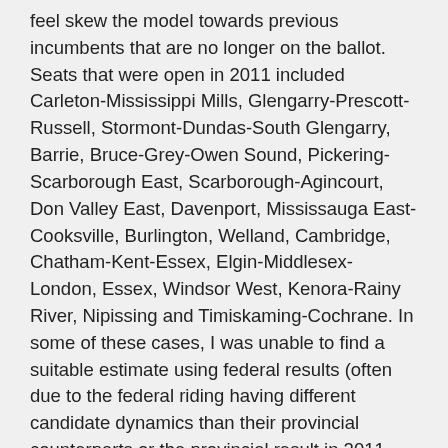feel skew the model towards previous incumbents that are no longer on the ballot. Seats that were open in 2011 included Carleton-Mississippi Mills, Glengarry-Prescott-Russell, Stormont-Dundas-South Glengarry, Barrie, Bruce-Grey-Owen Sound, Pickering-Scarborough East, Scarborough-Agincourt, Don Valley East, Davenport, Mississauga East-Cooksville, Burlington, Welland, Cambridge, Chatham-Kent-Essex, Elgin-Middlesex-London, Essex, Windsor West, Kenora-Rainy River, Nipissing and Timiskaming-Cochrane. In some of these cases, I was unable to find a suitable estimate using federal results (often due to the federal riding having different candidate dynamics than their provincial counterparts or the provincial result in 2011 being close enough to the federal results in the riding). In these cases, I did not provide any estimates in my model, and I continued to use the 2011 result as the base. In the ridings of Glengarry-Prescott-Russell, Stormont-Dundas-Glengarry, Pickering-Scarborough East, Don Valley East, Davenport, Welland, Essex, Windsor West, Kenora-Rainy